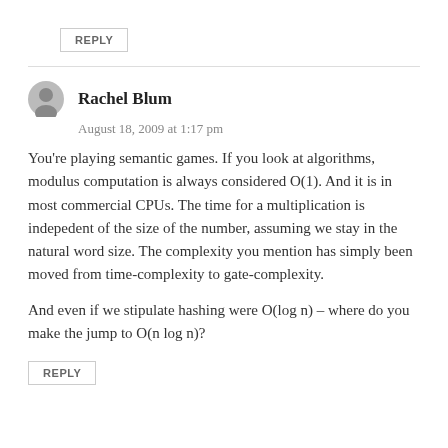REPLY
Rachel Blum
August 18, 2009 at 1:17 pm
You’re playing semantic games. If you look at algorithms, modulus computation is always considered O(1). And it is in most commercial CPUs. The time for a multiplication is indepedent of the size of the number, assuming we stay in the natural word size. The complexity you mention has simply been moved from time-complexity to gate-complexity.
And even if we stipulate hashing were O(log n) – where do you make the jump to O(n log n)?
REPLY